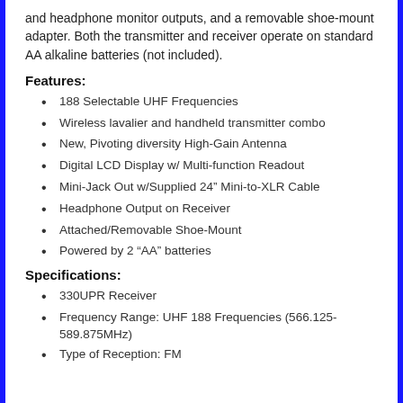and headphone monitor outputs, and a removable shoe-mount adapter. Both the transmitter and receiver operate on standard AA alkaline batteries (not included).
Features:
188 Selectable UHF Frequencies
Wireless lavalier and handheld transmitter combo
New, Pivoting diversity High-Gain Antenna
Digital LCD Display w/ Multi-function Readout
Mini-Jack Out w/Supplied 24" Mini-to-XLR Cable
Headphone Output on Receiver
Attached/Removable Shoe-Mount
Powered by 2 "AA" batteries
Specifications:
330UPR Receiver
Frequency Range: UHF 188 Frequencies (566.125-589.875MHz)
Type of Reception: FM